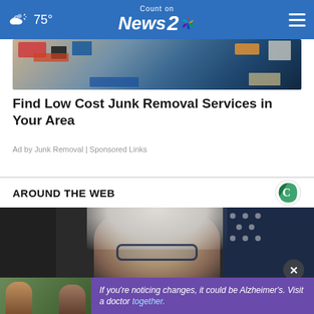75° — Count on News 2 NBC
[Figure (photo): Cluttered items including clothing and boxes — junk removal advertisement image]
Find Low Cost Junk Removal Services in Your Area
Ad by Junk Removal | Sponsored Links
AROUND THE WEB
[Figure (photo): Close-up photo of a woman with gray hair and glasses, American flag in background]
[Figure (photo): Bottom advertisement showing two men outdoors with Alzheimer's awareness text: If you're noticing changes, it could be Alzheimer's. Visit a doctor together.]